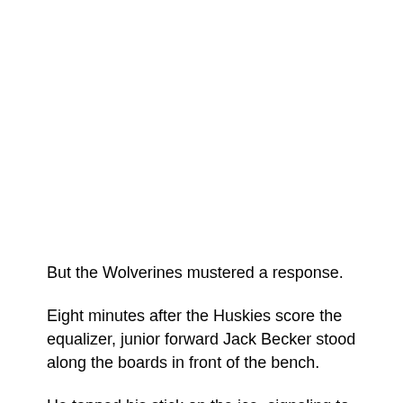But the Wolverines mustered a response.
Eight minutes after the Huskies score the equalizer, junior forward Jack Becker stood along the boards in front of the bench.
He tapped his stick on the ice, signaling to teammate Jake Slade, who cut through. The senior forward saw an open...